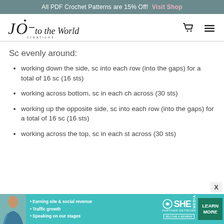All PDF Crochet Patterns are 15% Off!  Visit Shop
[Figure (logo): JO to the World Creations handwritten logo with cart and menu icons]
Sc evenly around:
working down the side, sc into each row (into the gaps) for a total of 16 sc (16 sts)
working across bottom, sc in each ch across (30 sts)
working up the opposite side, sc into each row (into the gaps) for a total of 16 sc (16 sts)
working across the top, sc in each st across (30 sts)
[Figure (infographic): SHE Partner Network advertisement banner with photo, bullets about earning site revenue, traffic growth, speaking on stages, SHE logo, and Learn More button]